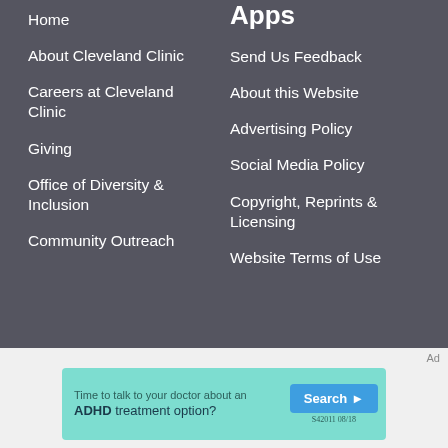Home
About Cleveland Clinic
Careers at Cleveland Clinic
Giving
Office of Diversity & Inclusion
Community Outreach
Apps
Send Us Feedback
About this Website
Advertising Policy
Social Media Policy
Copyright, Reprints & Licensing
Website Terms of Use
Ad
[Figure (screenshot): Advertisement banner for ADHD treatment with teal background. Text: 'Time to talk to your doctor about an ADHD treatment option?' with a blue 'Search' button and disclaimer 'S42011 08/18']